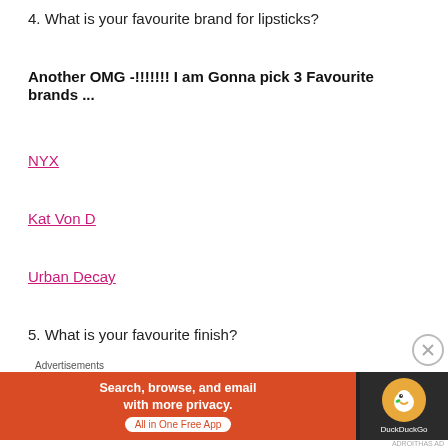4. What is your favourite brand for lipsticks?
Another OMG -!!!!!!! I am Gonna pick 3 Favourite brands ...
NYX
Kat Von D
Urban Decay
5. What is your favourite finish?
Matte Matte Matte!
6. What is the last lipstick you bought?
[Figure (other): DuckDuckGo advertisement banner: 'Search, browse, and email with more privacy. All in One Free App' with DuckDuckGo logo on dark background]